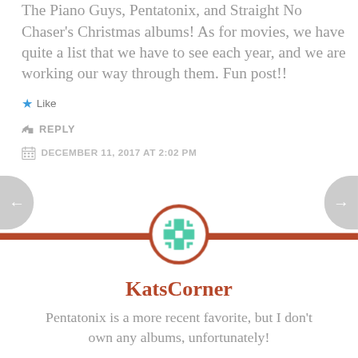The Piano Guys, Pentatonix, and Straight No Chaser's Christmas albums! As for movies, we have quite a list that we have to see each year, and we are working our way through them. Fun post!!
★ Like
↪ REPLY
DECEMBER 11, 2017 AT 2:02 PM
[Figure (illustration): Horizontal burnt-orange divider bar with a circular avatar icon (teal geometric snowflake/cross pattern on white background with burnt-orange border) centered on it. Navigation arrows on left and right sides.]
KatsCorner
Pentatonix is a more recent favorite, but I don't own any albums, unfortunately!